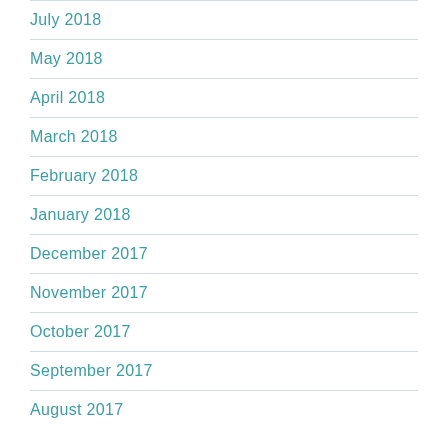July 2018
May 2018
April 2018
March 2018
February 2018
January 2018
December 2017
November 2017
October 2017
September 2017
August 2017